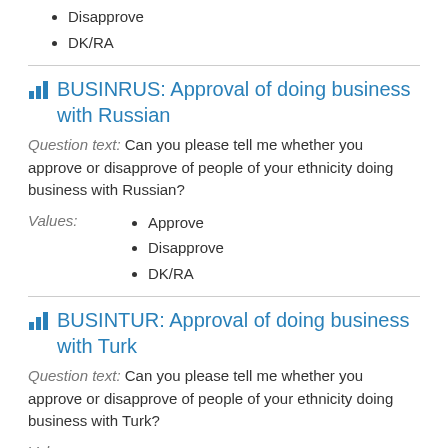Disapprove
DK/RA
BUSINRUS: Approval of doing business with Russian
Question text: Can you please tell me whether you approve or disapprove of people of your ethnicity doing business with Russian?
Approve
Disapprove
DK/RA
BUSINTUR: Approval of doing business with Turk
Question text: Can you please tell me whether you approve or disapprove of people of your ethnicity doing business with Turk?
Approve
Disapprove